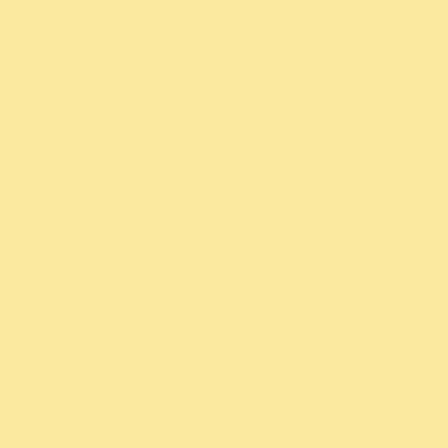TOP SOIL, M STONE, All IN ALSO A HUG FEEDS, BIRD HARDWOOD MORE!!!
ALSO NEW